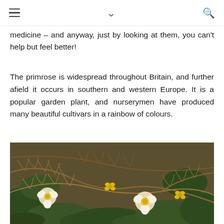[navigation bar with hamburger menu, chevron, and search icon]
medicine – and anyway, just by looking at them, you can't help but feel better!
The primrose is widespread throughout Britain, and further afield it occurs in southern and western Europe. It is a popular garden plant, and nurserymen have produced many beautiful cultivars in a rainbow of colours.
[Figure (photo): Photograph of white primrose flowers with yellow centers growing among dried brown bracken ferns and green leaves]